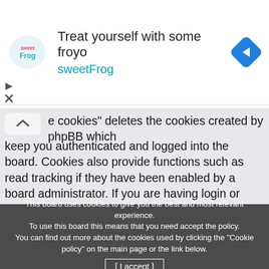[Figure (screenshot): Ad banner for sweetFrog frozen yogurt. Shows sweetFrog logo on left, text 'Treat yourself with some froyo' and 'sweetFrog' in teal, navigation arrow icon on right.]
“e cookies” deletes the cookies created by phpBB which keep you authenticated and logged into the board. Cookies also provide functions such as read tracking if they have been enabled by a board administrator. If you are having login or logout problems, deleting board cookies may help.
Top
User Preferences and settings
How do I change my settings?
If you are a registered user, all your settings are stored in the board database. To use them, click on the board user panel, a link can be found by clicking on your username at the top of board pages. This system will allow you to change all your settings and preferences.
This board uses cookies to give you the best and most relevant experience. To use this board this means that you need accept the policy. You can find out more about the cookies used by clicking the "Cookie policy" on the main page or the link below.